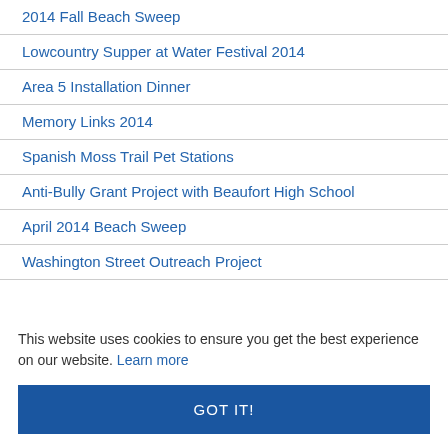2014 Fall Beach Sweep
Lowcountry Supper at Water Festival 2014
Area 5 Installation Dinner
Memory Links 2014
Spanish Moss Trail Pet Stations
Anti-Bully Grant Project with Beaufort High School
April 2014 Beach Sweep
Washington Street Outreach Project
This website uses cookies to ensure you get the best experience on our website. Learn more
GOT IT!